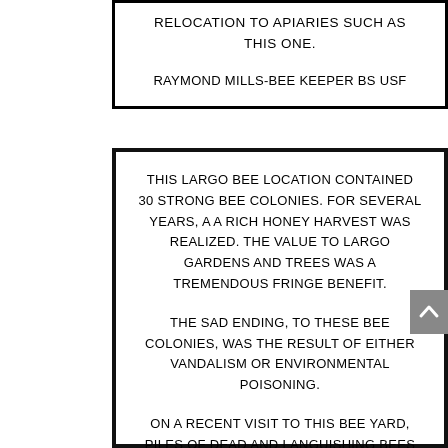RELOCATION TO APIARIES SUCH AS THIS ONE.
RAYMOND MILLS-BEE KEEPER BS USF
THIS LARGO BEE LOCATION CONTAINED 30 STRONG BEE COLONIES. FOR SEVERAL YEARS, A A RICH HONEY HARVEST WAS REALIZED. THE VALUE TO LARGO GARDENS AND TREES WAS A TREMENDOUS FRINGE BENEFIT.
THE SAD ENDING, TO THESE BEE COLONIES, WAS THE RESULT OF EITHER VANDALISM OR ENVIRONMENTAL POISONING.
ON A RECENT VISIT TO THIS BEE YARD, PILES OF DEAD AND LANGUISHING BEES WERE FOUND.